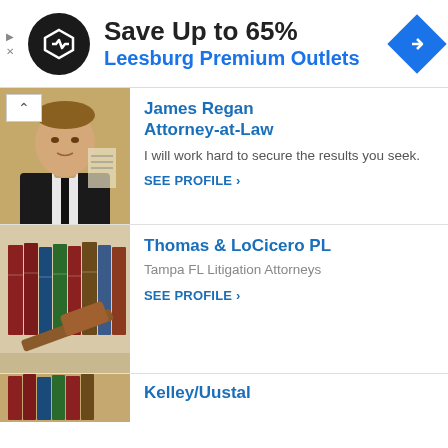[Figure (screenshot): Ad banner: Save Up to 65% Leesburg Premium Outlets with logo and navigation arrow]
[Figure (photo): Photo of James Regan, a man in a black suit and tie]
James Regan Attorney-at-Law
I will work hard to secure the results you seek.
SEE PROFILE ›
[Figure (photo): Photo of law books and a gavel]
Thomas & LoCicero PL
Tampa FL Litigation Attorneys
SEE PROFILE ›
Kelley/Uustal